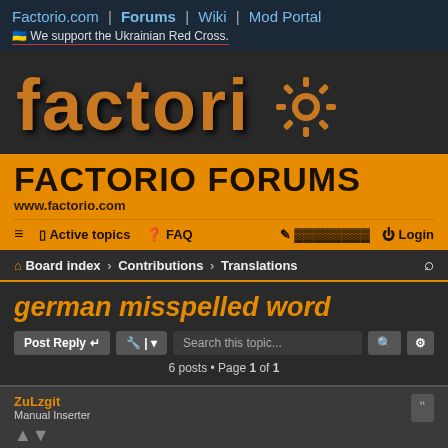Factorio.com | Forums | Wiki | Mod Portal
🇺🇦 We support the Ukrainian Red Cross.
[Figure (logo): Factorio logo in stylized orange/brown lettering with gear icon]
FACTORIO FORUMS
www.factorio.com
≡  Active topics  ? FAQ  [edit icon] [text] Login
Board index › Contributions › Translations
german misspelled word
Post Reply  🔧 |▾  Search this topic...  🔍  ⚙
6 posts • Page 1 of 1
ZuLzgit
Manual Inserter